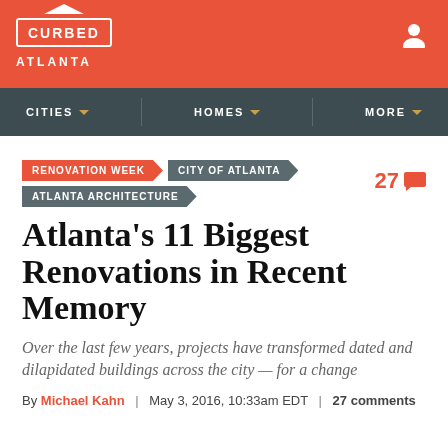CURBED ATLANTA
CITIES  HOMES  MORE
RENOVATION WEEK  CITY OF ATLANTA  ATLANTA ARCHITECTURE  27
Atlanta's 11 Biggest Renovations in Recent Memory
Over the last few years, projects have transformed dated and dilapidated buildings across the city — for a change
By Michael Kahn | May 3, 2016, 10:33am EDT | 27 comments